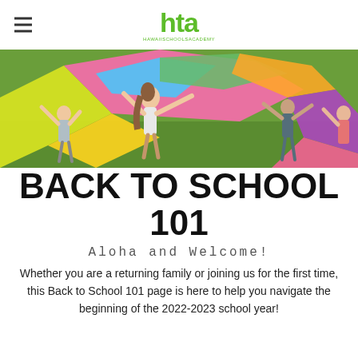hta
[Figure (photo): Children playing outdoors with a colorful parachute on a grassy field]
BACK TO SCHOOL 101
Aloha and Welcome!
Whether you are a returning family or joining us for the first time, this Back to School 101 page is here to help you navigate the beginning of the 2022-2023 school year!